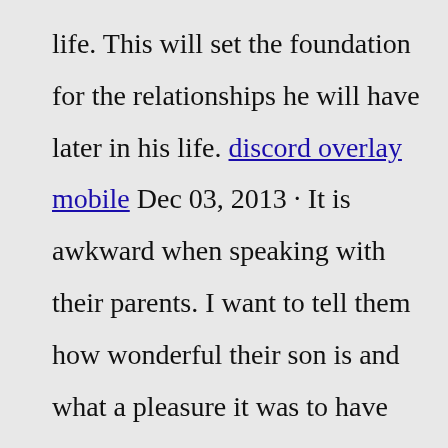life. This will set the foundation for the relationships he will have later in his life. discord overlay mobile Dec 03, 2013 · It is awkward when speaking with their parents. I want to tell them how wonderful their son is and what a pleasure it was to have him hang out with us. But I feel like that sentiment is more sincere when you actually can repeat the child's name. Conversely, my sons are now just “Stiles” to legions of